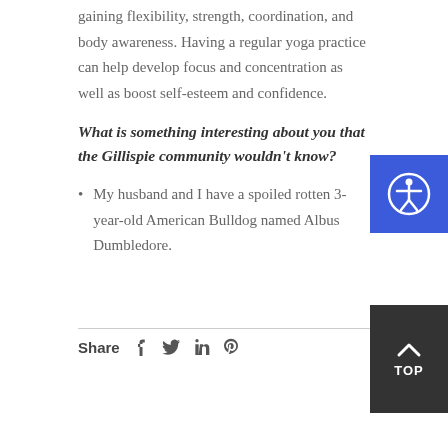gaining flexibility, strength, coordination, and body awareness. Having a regular yoga practice can help develop focus and concentration as well as boost self-esteem and confidence.
What is something interesting about you that the Gillispie community wouldn't know?
My husband and I have a spoiled rotten 3-year-old American Bulldog named Albus Dumbledore.
Share